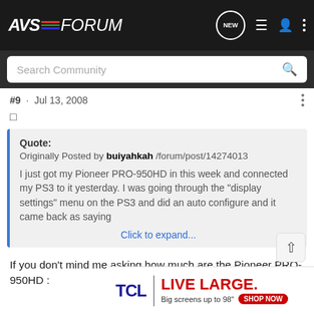AVS FORUM
#9 · Jul 13, 2008
□
Quote:
Originally Posted by buiyahkah /forum/post/14274013

I just got my Pioneer PRO-950HD in this week and connected my PS3 to it yesterday. I was going through the "display settings" menu on the PS3 and did an auto configure and it came back as saying
Click to expand...
If you don't mind me asking how much are the Pioneer PRO-950HD :
[Figure (infographic): TCL LIVE LARGE advertisement banner. Big screens up to 98" SHOP NOW button.]